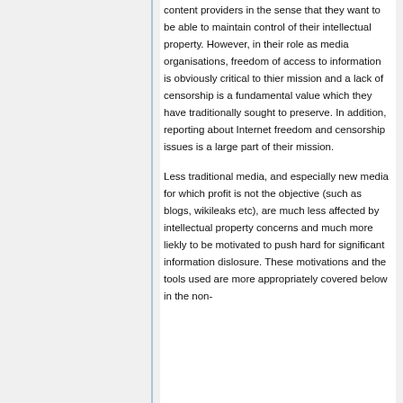content providers in the sense that they want to be able to maintain control of their intellectual property. However, in their role as media organisations, freedom of access to information is obviously critical to thier mission and a lack of censorship is a fundamental value which they have traditionally sought to preserve. In addition, reporting about Internet freedom and censorship issues is a large part of their mission.
Less traditional media, and especially new media for which profit is not the objective (such as blogs, wikileaks etc), are much less affected by intellectual property concerns and much more liekly to be motivated to push hard for significant information dislosure. These motivations and the tools used are more appropriately covered below in the non-